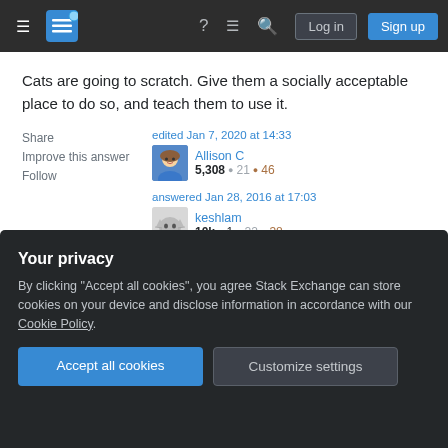Stack Exchange navigation bar with hamburger, logo, help, chat, search icons, Log in and Sign up buttons
Cats are going to scratch. Give them a socially acceptable place to do so, and teach them to use it.
Share   Improve this answer   Follow
edited Jan 7, 2020 at 14:33
Allison C
5,308 • 21 • 46
answered Jan 28, 2016 at 17:03
keshlam
10k • 1 • 22 • 38
Thanks for the answer. I think they really have enough
Your privacy
By clicking "Accept all cookies", you agree Stack Exchange can store cookies on your device and disclose information in accordance with our Cookie Policy.
Accept all cookies   Customize settings
continue, until I get up or throw something...